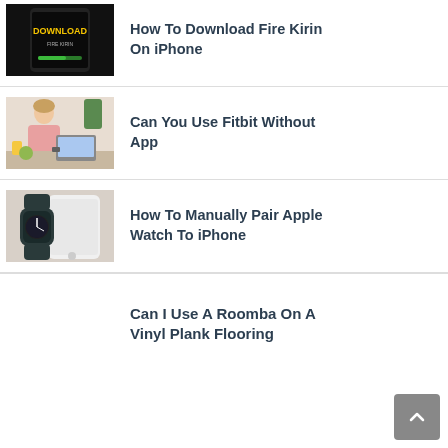[Figure (photo): Phone screen showing Fire Kirin download screen with yellow DOWNLOAD text]
How To Download Fire Kirin On iPhone
[Figure (photo): Person in pink shirt looking at Fitbit on wrist at desk]
Can You Use Fitbit Without App
[Figure (photo): Apple Watch with dark band next to iPhone on light background]
How To Manually Pair Apple Watch To iPhone
Can I Use A Roomba On A Vinyl Plank Flooring